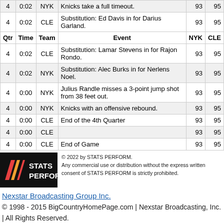| Qtr | Time | Team | Event | NYK | CLE |
| --- | --- | --- | --- | --- | --- |
| 4 | 0:02 | NYK | Knicks take a full timeout. | 93 | 95 |
| 4 | 0:02 | CLE | Substitution: Ed Davis in for Darius Garland. | 93 | 95 |
| 4 | 0:02 | CLE | Substitution: Lamar Stevens in for Rajon Rondo. | 93 | 95 |
| 4 | 0:02 | NYK | Substitution: Alec Burks in for Nerlens Noel. | 93 | 95 |
| 4 | 0:00 | NYK | Julius Randle misses a 3-point jump shot from 38 feet out. | 93 | 95 |
| 4 | 0:00 | NYK | Knicks with an offensive rebound. | 93 | 95 |
| 4 | 0:00 | CLE | End of the 4th Quarter | 93 | 95 |
| 4 | 0:00 | CLE |  | 93 | 95 |
| 4 | 0:00 | CLE | End of Game | 93 | 95 |
[Figure (logo): STATS PERFORM logo — black background with colored slashes and white text]
© 2022 by STATS PERFORM. Any commercial use or distribution without the express written consent of STATS PERFORM is strictly prohibited.
Nexstar Broadcasting Group Inc.
© 1998 - 2015 BigCountryHomePage.com | Nexstar Broadcasting, Inc. | All Rights Reserved.
Terms of Use